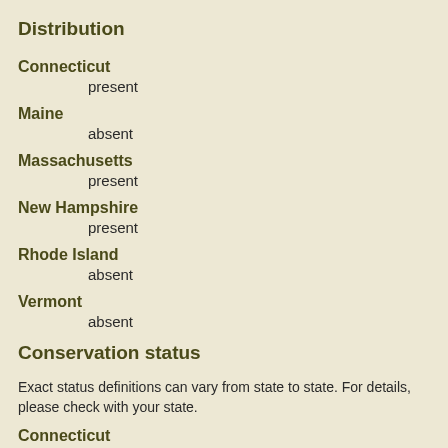Distribution
Connecticut
present
Maine
absent
Massachusetts
present
New Hampshire
present
Rhode Island
absent
Vermont
absent
Conservation status
Exact status definitions can vary from state to state. For details, please check with your state.
Connecticut
extremely rare (S-rank: S1), endangered (code: E)